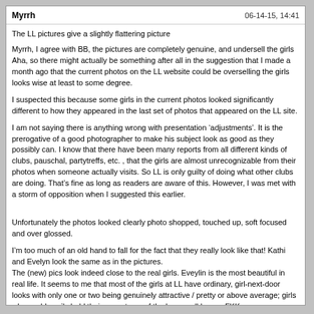Myrrh    06-14-15, 14:41
The LL pictures give a slightly flattering picture
Myrrh, I agree with BB, the pictures are completely genuine, and undersell the girls Aha, so there might actually be something after all in the suggestion that I made a month ago that the current photos on the LL website could be overselling the girls looks wise at least to some degree.
I suspected this because some girls in the current photos looked significantly different to how they appeared in the last set of photos that appeared on the LL site.
I am not saying there is anything wrong with presentation ‘adjustments’. It is the prerogative of a good photographer to make his subject look as good as they possibly can. I know that there have been many reports from all different kinds of clubs, pauschal, partytreffs, etc. , that the girls are almost unrecognizable from their photos when someone actually visits. So LL is only guilty of doing what other clubs are doing. That’s fine as long as readers are aware of this. However, I was met with a storm of opposition when I suggested this earlier.
Unfortunately the photos looked clearly photo shopped, touched up, soft focused and over glossed.
I’m too much of an old hand to fall for the fact that they really look like that! Kathi and Evelyn look the same as in the pictures.
The (new) pics look indeed close to the real girls. Eveylin is the most beautiful in real life. It seems to me that most of the girls at LL have ordinary, girl-next-door looks with only one or two being genuinely attractive / pretty or above average; girls who could easily hold their own at one of the large well known FKKs.
On the other hand LL does not seem to have the quota of a third / half or even more UFOs (Ugly, Fat, Old) girls that you’ll find in the average RTC. The sort of girls who rely on the dim lighting in these clubs and the failing eyesight of some of the elderly customers to get themselves occasionally picked.